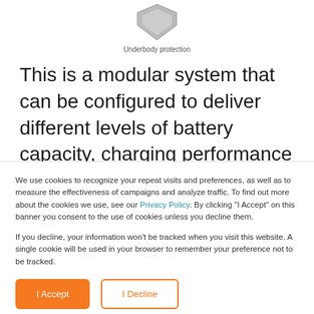[Figure (illustration): Gray shield/underbody protection component illustration shown partially at top of page]
Underbody protection
This is a modular system that can be configured to deliver different levels of battery capacity, charging performance and available footprint. Many of the modules inside the system can be standardized for an enormous volume consolidation. This includes
We use cookies to recognize your repeat visits and preferences, as well as to measure the effectiveness of campaigns and analyze traffic. To find out more about the cookies we use, see our Privacy Policy. By clicking "I Accept" on this banner you consent to the use of cookies unless you decline them.

If you decline, your information won't be tracked when you visit this website. A single cookie will be used in your browser to remember your preference not to be tracked.